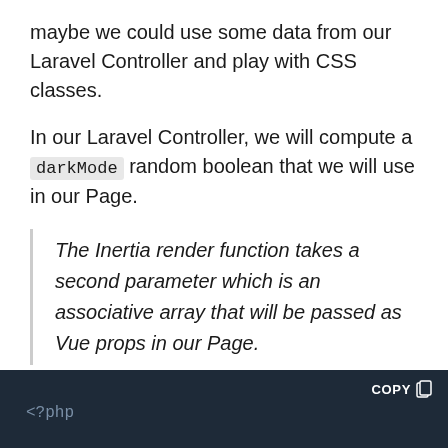maybe we could use some data from our Laravel Controller and play with CSS classes.
In our Laravel Controller, we will compute a darkMode random boolean that we will use in our Page.
The Inertia render function takes a second parameter which is an associative array that will be passed as Vue props in our Page.
/app/Http/Controllers/IndexController.php
[Figure (screenshot): Dark code editor block with COPY button and beginning of PHP code showing '<?php']